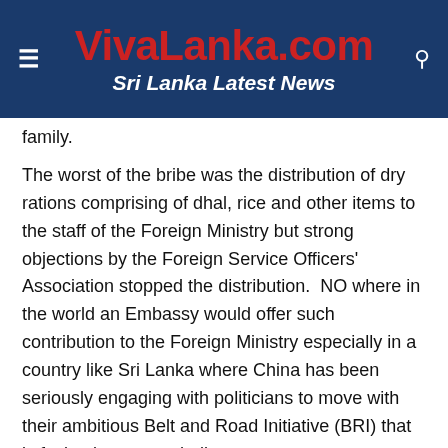VivaLanka.com – Sri Lanka Latest News
family.
The worst of the bribe was the distribution of dry rations comprising of dhal, rice and other items to the staff of the Foreign Ministry but strong objections by the Foreign Service Officers' Association stopped the distribution.  NO where in the world an Embassy would offer such contribution to the Foreign Ministry especially in a country like Sri Lanka where China has been seriously engaging with politicians to move with their ambitious Belt and Road Initiative (BRI) that is facing immense challenges.
The Chinese freebies for the Foreign Ministry were apparently authorized by Foreign Secretary Jayanath Colombage, and the China-Sri Lanka Friendship Association of which Namal Rajapaksa is the president was to be function as the distribution channel.